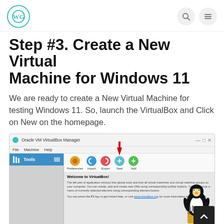WG logo with search and menu icons
Step #3. Create a New Virtual Machine for Windows 11
We are ready to create a New Virtual Machine for testing Windows 11. So, launch the VirtualBox and Click on New on the homepage.
[Figure (screenshot): Oracle VM VirtualBox Manager application window showing the welcome screen with toolbar buttons (Preferences, Import, Export, New, Add) and a sidebar with Tools panel. A red arrow points to the 'New' button. A Linux penguin mascot with a toolbox is visible on the right side.]